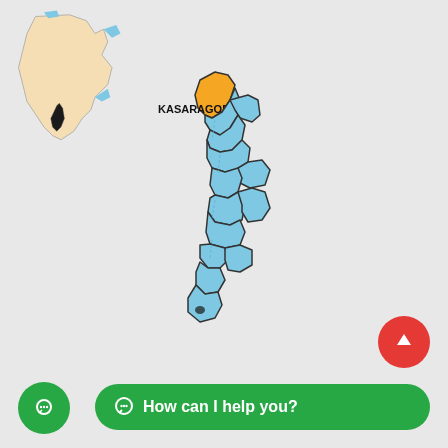[Figure (map): Map of Kerala state in India with districts outlined. The northernmost district, Kasaragod, is highlighted in orange/yellow. All other districts are shown in light blue. A small inset map of India in the top-left corner shows the location of Kerala highlighted in black. The label 'KASARAGOD' is printed in bold black text next to the highlighted district.]
How can I help you?